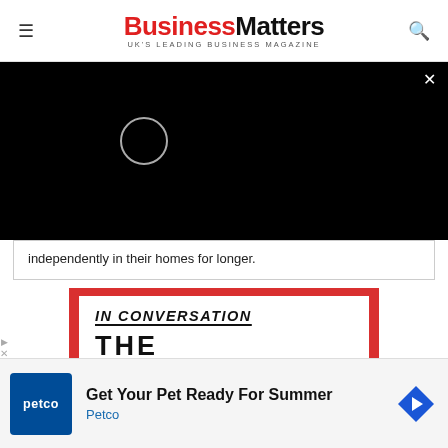BusinessMatters — UK'S LEADING BUSINESS MAGAZINE
[Figure (screenshot): Black video overlay with a loading spinner circle and an X close button in the top-right corner]
independently in their homes for longer.
[Figure (illustration): In Conversation banner with red frame border. Contains italic bold text 'IN CONVERSATION' with underline, and partial bold text 'THE' below. A chevron-down button appears to the left.]
[Figure (screenshot): Advertisement banner for Petco: 'Get Your Pet Ready For Summer' with Petco logo and a blue navigation arrow icon]